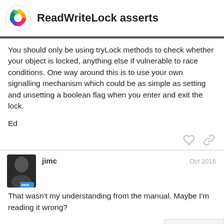ReadWriteLock asserts
You should only be using tryLock methods to check whether your object is locked, anything else if vulnerable to race conditions. One way around this is to use your own signalling mechanism which could be as simple as setting and unsetting a boolean flag when you enter and exit the lock.

Ed
jimc
Oct 2016
That wasn't my understanding from the manual. Maybe I'm reading it wrong?
Tries to lock this object for writing.
This is like enterWrite(), but doesn't blo
4 / 7